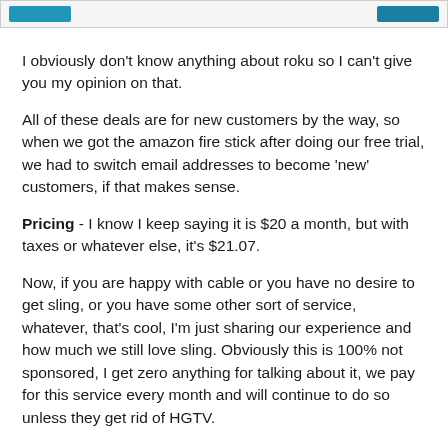[navigation bar with buttons]
I obviously don't know anything about roku so I can't give you my opinion on that.
All of these deals are for new customers by the way, so when we got the amazon fire stick after doing our free trial, we had to switch email addresses to become 'new' customers, if that makes sense.
Pricing - I know I keep saying it is $20 a month, but with taxes or whatever else, it's $21.07.
Now, if you are happy with cable or you have no desire to get sling, or you have some other sort of service, whatever, that's cool, I'm just sharing our experience and how much we still love sling. Obviously this is 100% not sponsored, I get zero anything for talking about it, we pay for this service every month and will continue to do so unless they get rid of HGTV.
We also have Netflix, which is less than $10 a month, and